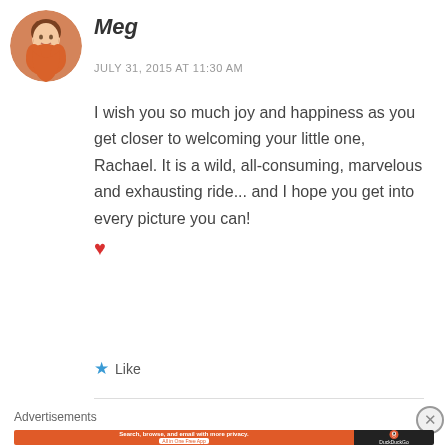[Figure (photo): Circular avatar photo of a smiling woman with brown wavy hair wearing an orange top]
Meg
JULY 31, 2015 AT 11:30 AM
I wish you so much joy and happiness as you get closer to welcoming your little one, Rachael. It is a wild, all-consuming, marvelous and exhausting ride... and I hope you get into every picture you can! ❤
★ Like
Advertisements
[Figure (screenshot): DuckDuckGo advertisement banner: Search, browse, and email with more privacy. All in One Free App]